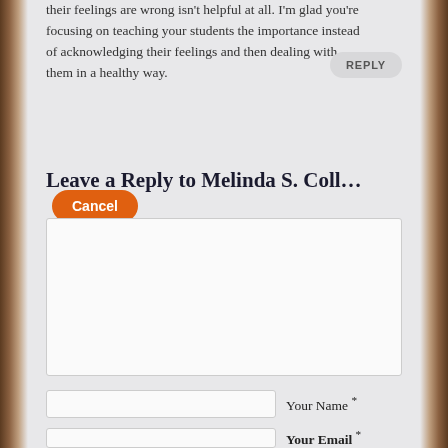their feelings are wrong isn't helpful at all. I'm glad you're focusing on teaching your students the importance instead of acknowledging their feelings and then dealing with them in a healthy way.
REPLY
Leave a Reply to Melinda S. Coll… Cancel
[Figure (other): Comment text area input box]
Your Name *
Your Email *